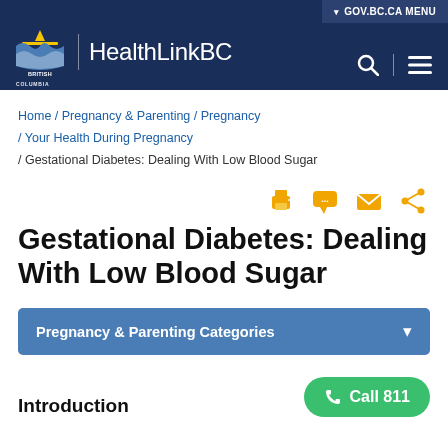HealthLinkBC — GOV.BC.CA MENU
Home / Pregnancy & Parenting / Pregnancy / Your Health During Pregnancy / Gestational Diabetes: Dealing With Low Blood Sugar
[Figure (infographic): Share icons: printer, speech bubble, envelope, share symbol in golden/amber color]
Gestational Diabetes: Dealing With Low Blood Sugar
Pregnancy & Parenting Categories
Introduction
[Figure (infographic): Green rounded button with phone icon: Call 811]